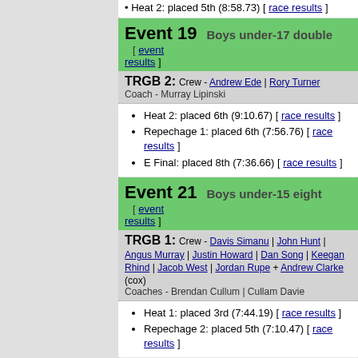Heat 2: placed 5th (8:58.73) [ race results ]
Event 19   Boys under-17 double   [ event results ]
TRGB 2: Crew - Andrew Ede | Rory Turner
Coach - Murray Lipinski
Heat 2: placed 6th (9:10.67) [ race results ]
Repechage 1: placed 6th (7:56.76) [ race results ]
E Final: placed 8th (7:36.66) [ race results ]
Event 21   Boys under-15 eight   [ event results ]
TRGB 1: Crew - Davis Simanu | John Hunt | Angus Murray | Justin Howard | Dan Song | Keegan Rhind | Jacob West | Jordan Rupe + Andrew Clarke (cox)
Coaches - Brendan Cullum | Cullam Davie
Heat 1: placed 3rd (7:44.19) [ race results ]
Repechage 2: placed 5th (7:10.47) [ race results ]
Event 26   Boys under-16 double   [ event results ]